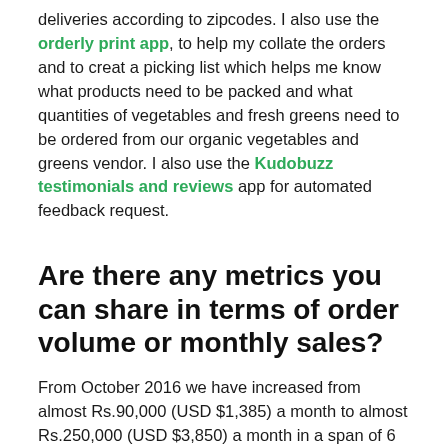deliveries according to zipcodes. I also use the orderly print app, to help my collate the orders and to creat a picking list which helps me know what products need to be packed and what quantities of vegetables and fresh greens need to be ordered from our organic vegetables and greens vendor. I also use the Kudobuzz testimonials and reviews app for automated feedback request.
Are there any metrics you can share in terms of order volume or monthly sales?
From October 2016 we have increased from almost Rs.90,000 (USD $1,385) a month to almost Rs.250,000 (USD $3,850) a month in a span of 6 months. We've kept an ambitious target of Rs. 8,000,000 (USD $123,000) for 2017-18 and we're geared up!